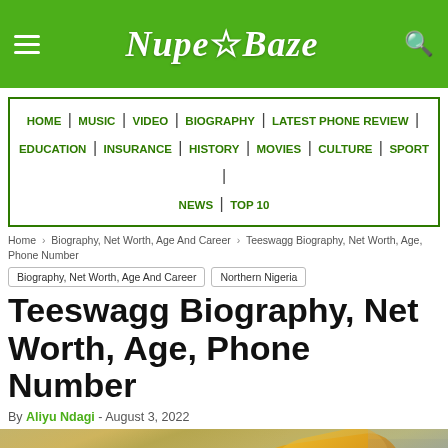NupeBaze
HOME | MUSIC | VIDEO | BIOGRAPHY | LATEST PHONE REVIEW | EDUCATION | INSURANCE | HISTORY | MOVIES | CULTURE | SPORT | NEWS | TOP 10
Home › Biography, Net Worth, Age And Career › Teeswagg Biography, Net Worth, Age, Phone Number
Biography, Net Worth, Age And Career
Northern Nigeria
Teeswagg Biography, Net Worth, Age, Phone Number
By Aliyu Ndagi - August 3, 2022
[Figure (photo): Photo of Teeswagg, a person wearing a yellow traditional garment, with a blurred background of tiles or brickwork]